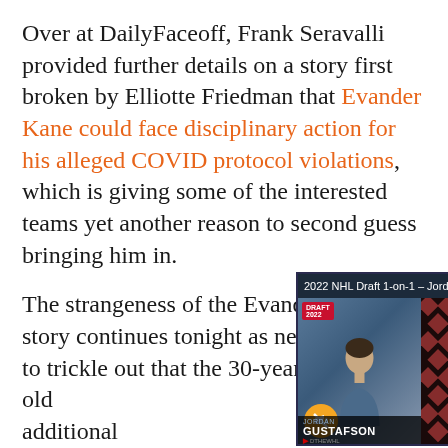Over at DailyFaceoff, Frank Seravalli provided further details on a story first broken by Elliotte Friedman that Evander Kane could face disciplinary action for his alleged COVID protocol violations, which is giving some of the interested teams yet another reason to second guess bringing him in.

The strangeness of the Evander Kane story continues tonight as news continues to trickle out that the 30-year-old could be facing additional suspension on top of his COVID protocol violations. He was waived by the San Jose Sharks on Saturday, but Kane himself has filed a grievance related to the termination of Kane's contract ... here and elsewhere that nearly half the league (or
[Figure (screenshot): Video overlay showing '2022 NHL Draft 1-on-1 – Jordan Gustafs...' with two people on screen, a mute button, JORDAN GUSTAFSON name bar, and notification badge showing 17]